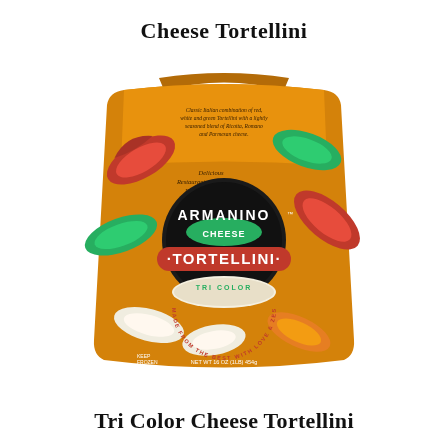Cheese Tortellini
[Figure (photo): Product photo of Armanino Cheese Tortellini Tri Color bag packaging. The bag has an orange/yellow background with colorful tri-color tortellini pasta visible. The label reads ARMANINO CHEESE TORTELLINI TRI COLOR, with text 'MADE FROM THE BEST WITH LOVE & ZEST' and 'NET WT 16 OZ (1LB) 454g'. Also shows 'Delicious Restaurant-Quality Pasta, Ready in 3 Minutes.']
Tri Color Cheese Tortellini